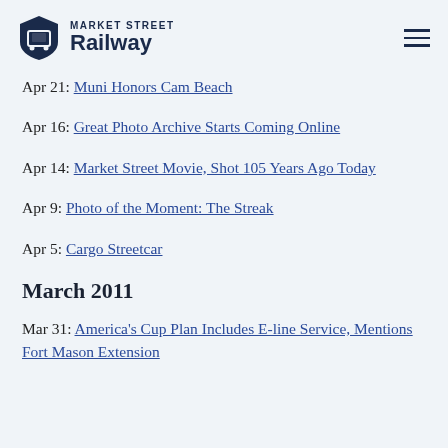Market Street Railway
Apr 21: Muni Honors Cam Beach
Apr 16: Great Photo Archive Starts Coming Online
Apr 14: Market Street Movie, Shot 105 Years Ago Today
Apr 9: Photo of the Moment: The Streak
Apr 5: Cargo Streetcar
March 2011
Mar 31: America's Cup Plan Includes E-line Service, Mentions Fort Mason Extension